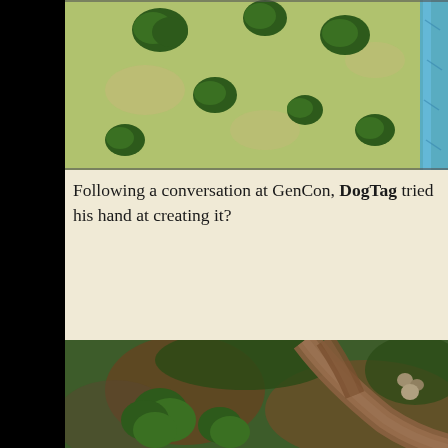[Figure (illustration): Top-down view fantasy map showing grassy terrain with scattered dark green trees and a blue river/stream on the right edge]
Following a conversation at GenCon, DogTag tried his hand at creating it?
[Figure (illustration): Top-down view fantasy tabletop RPG battle map showing green and brown terrain with trees, rocks, and a winding dirt road/path]